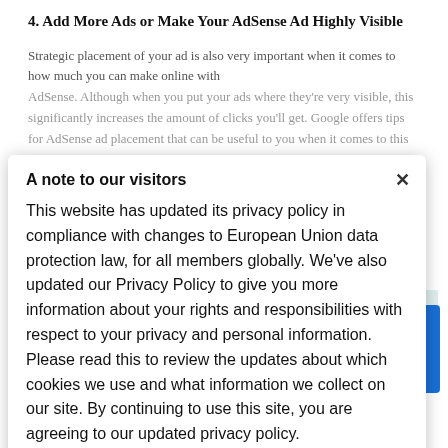4. Add More Ads or Make Your AdSense Ad Highly Visible
Strategic placement of your ad is also very important when it comes to how much you can make online with AdSense. Although when you put your ads where they're very visible, this significantly increases the amount of clicks you'll get. Google offers tips for AdSense ad placement that can be useful to you when it comes to this point.
A note to our visitors
This website has updated its privacy policy in compliance with changes to European Union data protection law, for all members globally. We've also updated our Privacy Policy to give you more information about your rights and responsibilities with respect to your privacy and personal information. Please read this to review the updates about which cookies we use and what information we collect on our site. By continuing to use this site, you are agreeing to our updated privacy policy.
I agree
5. Optimize Your AdSense Ads for Higher CTR
Strategic placement of your AdSense ads is very critical, but there are other important aspects you should also consider when optimizing your web pages for high Click Through Rate (CTR). In order to get more